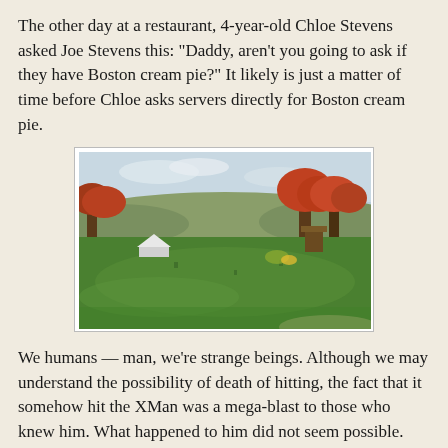The other day at a restaurant, 4-year-old Chloe Stevens asked Joe Stevens this: "Daddy, aren't you going to ask if they have Boston cream pie?" It likely is just a matter of time before Chloe asks servers directly for Boston cream pie.
[Figure (photo): Outdoor scene of a park or cemetery with green grass, autumn trees with red and orange foliage, and rolling hills in the background under a partly cloudy sky.]
We humans — man, we're strange beings. Although we may understand the possibility of death of hitting, the fact that it somehow hit the XMan was a mega-blast to those who knew him. What happened to him did not seem possible. Nine months later, it still is hard to believe.
Mourning comes in waves for Stevens. As it uncharacteristically rains in Los Angeles today on a Monday, it doesn't seem like an